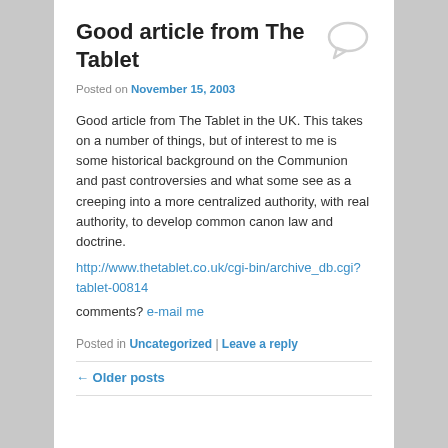Good article from The Tablet
Posted on November 15, 2003
Good article from The Tablet in the UK. This takes on a number of things, but of interest to me is some historical background on the Communion and past controversies and what some see as a creeping into a more centralized authority, with real authority, to develop common canon law and doctrine.
http://www.thetablet.co.uk/cgi-bin/archive_db.cgi?tablet-00814
comments? e-mail me
Posted in Uncategorized | Leave a reply
← Older posts